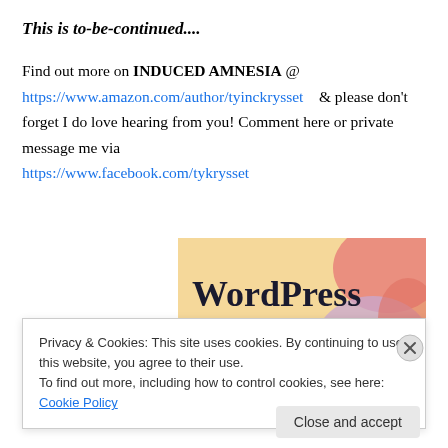This is to-be-continued....
Find out more on INDUCED AMNESIA @ https://www.amazon.com/author/tyinckrysset   & please don't forget I do love hearing from you! Comment here or private message me via https://www.facebook.com/tykrysset
[Figure (illustration): WordPress 'in the back.' promotional banner with colorful blobs in orange, pink, and purple on a light background]
Privacy & Cookies: This site uses cookies. By continuing to use this website, you agree to their use.
To find out more, including how to control cookies, see here: Cookie Policy
Close and accept